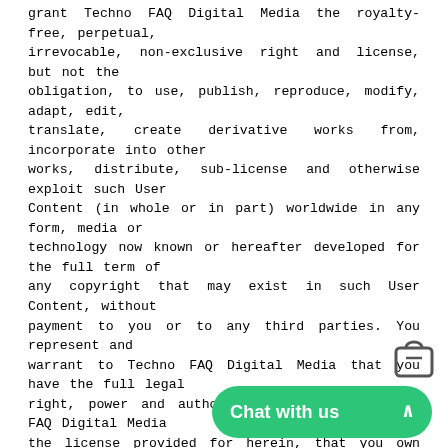grant Techno FAQ Digital Media the royalty-free, perpetual, irrevocable, non-exclusive right and license, but not the obligation, to use, publish, reproduce, modify, adapt, edit, translate, create derivative works from, incorporate into other works, distribute, sub-license and otherwise exploit such User Content (in whole or in part) worldwide in any form, media or technology now known or hereafter developed for the full term of any copyright that may exist in such User Content, without payment to you or to any third parties. You represent and warrant to Techno FAQ Digital Media that you have the full legal right, power and authority to grant to Techno FAQ Digital Media the license provided for herein, that you own or control the complete exhibition and other rights to the User Content you submitted for the purposes contemplated in this license and that neither the User Content nor the exercise of the rights granted herein shall violate these Terms of Use, or infringe upon any rights, including the right of privacy or right of publicity, constitute a libel or slander against, or violate any c... or any other right of, or cause i... further grant Techno FAQ Digital... obligation, to pursue at law any person or entity that violates